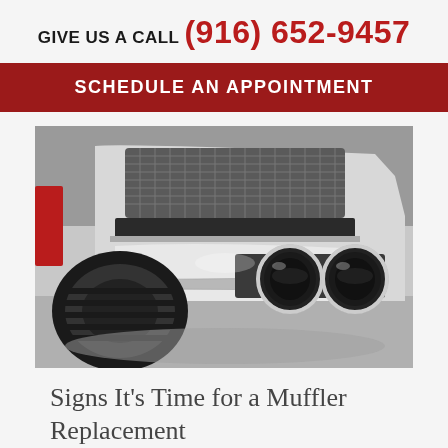GIVE US A CALL (916) 652-9457
SCHEDULE AN APPOINTMENT
[Figure (photo): Close-up photo of the rear undercarriage of a car showing dual chrome exhaust pipes/muffler tips and a black tire, taken from a low angle in what appears to be a showroom.]
Signs It’s Time for a Muffler Replacement